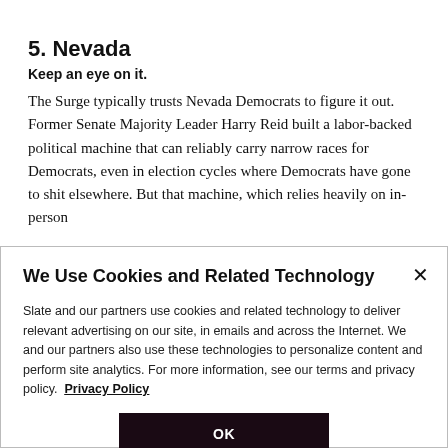5. Nevada
Keep an eye on it.
The Surge typically trusts Nevada Democrats to figure it out. Former Senate Majority Leader Harry Reid built a labor-backed political machine that can reliably carry narrow races for Democrats, even in election cycles where Democrats have gone to shit elsewhere. But that machine, which relies heavily on in-person interactions...
We Use Cookies and Related Technology
Slate and our partners use cookies and related technology to deliver relevant advertising on our site, in emails and across the Internet. We and our partners also use these technologies to personalize content and perform site analytics. For more information, see our terms and privacy policy.  Privacy Policy
OK